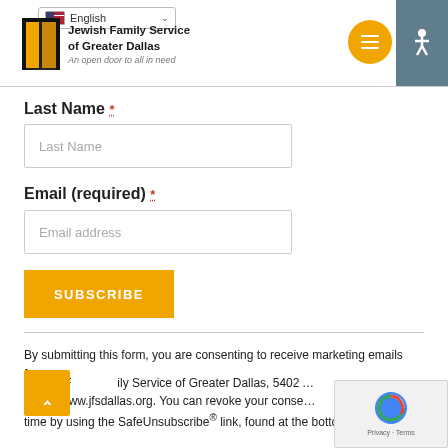[Figure (logo): Jewish Family Service of Greater Dallas logo with open door icon and tagline 'An open door to all in need']
Last Name *
Last Name (input placeholder)
Email (required) *
Email address (input placeholder)
SUBSCRIBE
By submitting this form, you are consenting to receive marketing emails from:
Jewish Family Service of Greater Dallas, 5402 Arapaho Road, Dallas, TX, 7...
https://www.jfsdallas.org. You can revoke your consent to receive email...
time by using the SafeUnsubscribe® link, found at the bottom of every email...